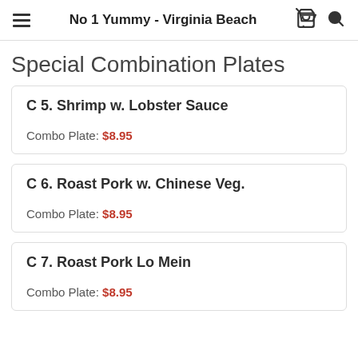No 1 Yummy - Virginia Beach
Special Combination Plates
C 5. Shrimp w. Lobster Sauce — Combo Plate: $8.95
C 6. Roast Pork w. Chinese Veg. — Combo Plate: $8.95
C 7. Roast Pork Lo Mein — Combo Plate: $8.95